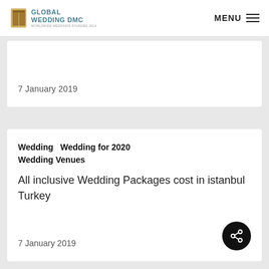GLOBAL WEDDING DMC — MENU
7 January 2019
Wedding  Wedding for 2020 Wedding Venues
All inclusive Wedding Packages cost in istanbul Turkey
7 January 2019